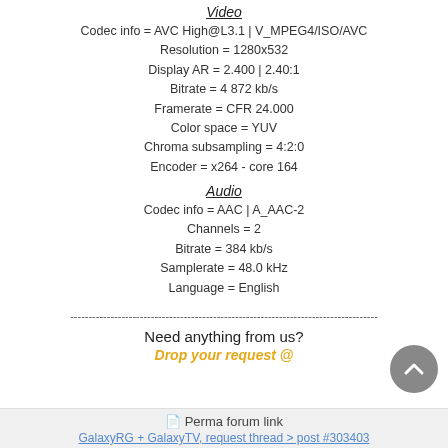Video
Codec info = AVC High@L3.1 | V_MPEG4/ISO/AVC
Resolution = 1280x532
Display AR = 2.400 | 2.40:1
Bitrate = 4 872 kb/s
Framerate = CFR 24.000
Color space = YUV
Chroma subsampling = 4:2:0
Encoder = x264 - core 164
Audio
Codec info = AAC | A_AAC-2
Channels = 2
Bitrate = 384 kb/s
Samplerate = 48.0 kHz
Language = English
------------------------------------------------------------------------------------
Need anything from us?
Drop your request @
Perma forum link
GalaxyRG + GalaxyTV, request thread > post #303403